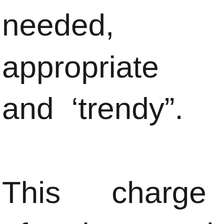needed, appropriate and 'trendy". This charge of the quasi-idea (which was supposed to raise the cultural